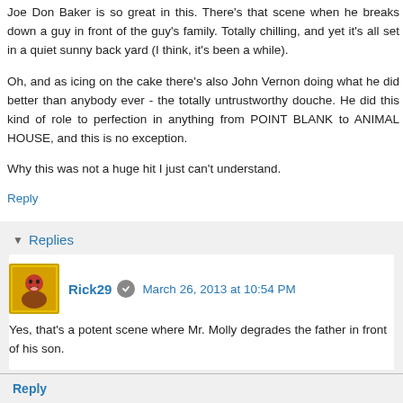Joe Don Baker is so great in this. There's that scene when he breaks down a guy in front of the guy's family. Totally chilling, and yet it's all set in a quiet sunny back yard (I think, it's been a while).
Oh, and as icing on the cake there's also John Vernon doing what he did better than anybody ever - the totally untrustworthy douche. He did this kind of role to perfection in anything from POINT BLANK to ANIMAL HOUSE, and this is no exception.
Why this was not a huge hit I just can't understand.
Reply
Replies
Rick29  March 26, 2013 at 10:54 PM
Yes, that's a potent scene where Mr. Molly degrades the father in front of his son.
Reply